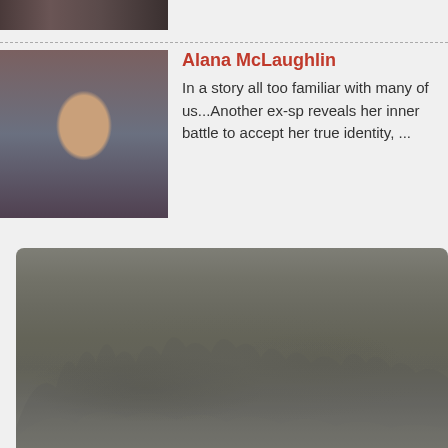[Figure (photo): Partial top strip of an image, appears to be a person or scene, cropped at top of page]
Alana McLaughlin
In a story all too familiar with many of us...Another ex-sp reveals her inner battle to accept her true identity, ...
[Figure (photo): Large blurry/foggy outdoor landscape photo taking up the lower half of the page, muted gray-green tones]